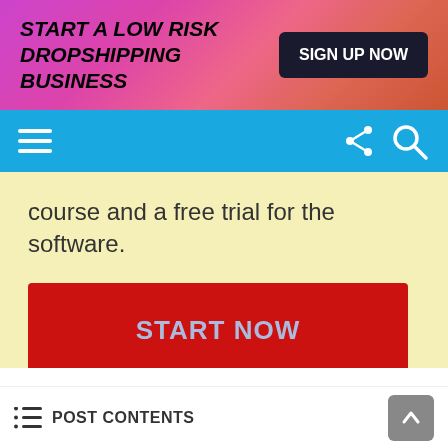[Figure (infographic): Top banner ad with gradient background (purple to orange-red). Bold italic text: START A LOW RISK DROPSHIPPING BUSINESS. Black button: SIGN UP NOW.]
[Figure (infographic): Blue navigation bar with hamburger menu on left and share/search icons on right.]
course and a free trial for the software.
[Figure (infographic): Red button with text START NOW on yellow/cream background.]
Planning Ahead Your Store For Black Friday Dropshipping and Cyber
POST CONTENTS